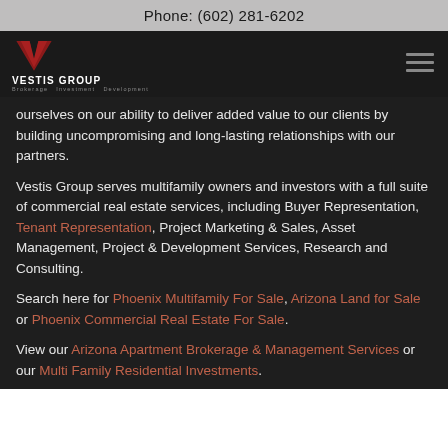Phone: (602) 281-6202
[Figure (logo): Vestis Group logo with red V icon and text 'Vestis Group' with tagline 'Brokerage · Investment · Development' on dark background, with hamburger menu icon]
ourselves on our ability to deliver added value to our clients by building uncompromising and long-lasting relationships with our partners.
Vestis Group serves multifamily owners and investors with a full suite of commercial real estate services, including Buyer Representation, Tenant Representation, Project Marketing & Sales, Asset Management, Project & Development Services, Research and Consulting.
Search here for Phoenix Multifamily For Sale, Arizona Land for Sale or Phoenix Commercial Real Estate For Sale.
View our Arizona Apartment Brokerage & Management Services or our Multi Family Residential Investments.